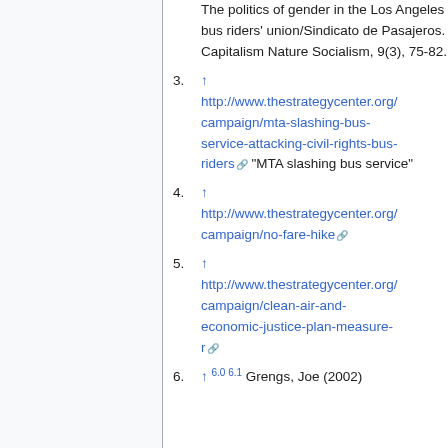The politics of gender in the Los Angeles bus riders' union/Sindicato de Pasajeros. Capitalism Nature Socialism, 9(3), 75-82.
3. ↑ http://www.thestrategycenter.org/campaign/mta-slashing-bus-service-attacking-civil-rights-bus-riders [external link] "MTA slashing bus service"
4. ↑ http://www.thestrategycenter.org/campaign/no-fare-hike [external link]
5. ↑ http://www.thestrategycenter.org/campaign/clean-air-and-economic-justice-plan-measure-r [external link]
6. ↑ 6.0 6.1 Grengs, Joe (2002)